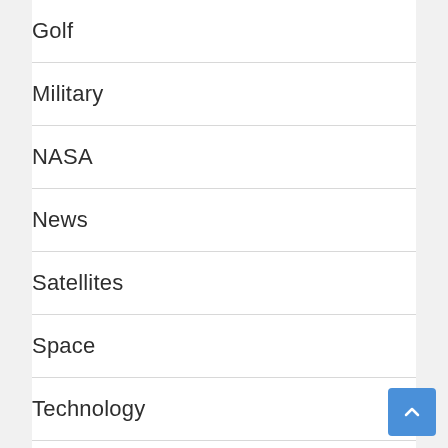Golf
Military
NASA
News
Satellites
Space
Technology
Tennis
Uncategorized